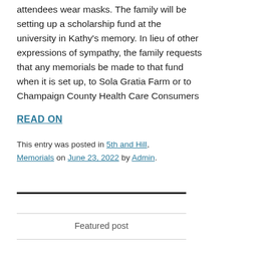attendees wear masks. The family will be setting up a scholarship fund at the university in Kathy's memory. In lieu of other expressions of sympathy, the family requests that any memorials be made to that fund when it is set up, to Sola Gratia Farm or to Champaign County Health Care Consumers
READ ON
This entry was posted in 5th and Hill, Memorials on June 23, 2022 by Admin.
Featured post